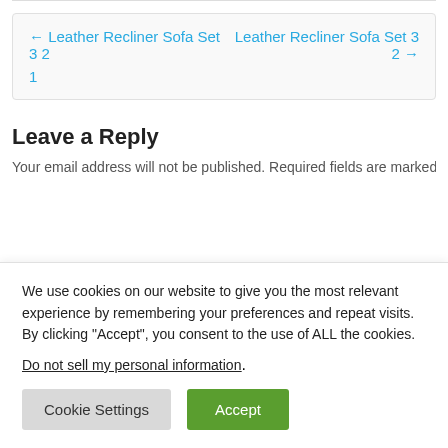← Leather Recliner Sofa Set 3 2    Leather Recliner Sofa Set 3 2 →
1
Leave a Reply
Your email address will not be published. Required fields are marked *
We use cookies on our website to give you the most relevant experience by remembering your preferences and repeat visits. By clicking "Accept", you consent to the use of ALL the cookies.
Do not sell my personal information.